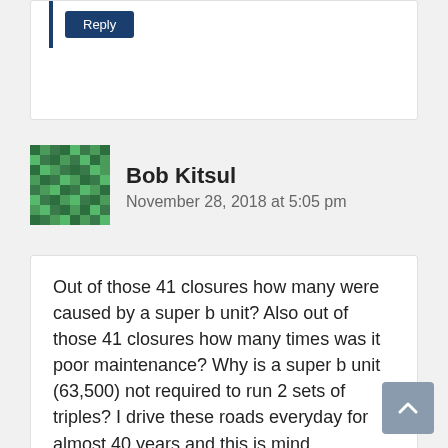[Figure (screenshot): Partial top comment with a Reply button indented with a blue left border]
[Figure (illustration): Pixelated avatar/identicon image for user Bob Kitsul in green tones]
Bob Kitsul
November 28, 2018 at 5:05 pm
Out of those 41 closures how many were caused by a super b unit? Also out of those 41 closures how many times was it poor maintenance? Why is a super b unit (63,500) not required to run 2 sets of triples? I drive these roads everyday for almost 40 years and this is mind boggling!!!!!!!
Reply